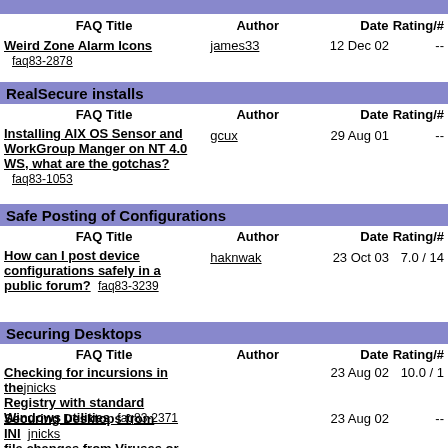RealSecure installs
| FAQ Title | Author | Date | Rating/# |
| --- | --- | --- | --- |
| Weird Zone Alarm Icons  faq83-2878 | james33 | 12 Dec 02 | -- |
RealSecure installs
| FAQ Title | Author | Date | Rating/# |
| --- | --- | --- | --- |
| Installing AIX OS Sensor and WorkGroup Manger on NT 4.0 WS, what are the gotchas?  faq83-1053 | gcux | 29 Aug 01 | -- |
Safe Posting of Configurations
| FAQ Title | Author | Date | Rating/# |
| --- | --- | --- | --- |
| How can I post device configurations safely in a public forum?  faq83-3239 | haknwak | 23 Oct 03 | 7.0 / 14 |
Securing Desktops
| FAQ Title | Author | Date | Rating/# |
| --- | --- | --- | --- |
| Checking for incursions in the Registry with standard Windows utilities  faq83-2371 | jnicks | 23 Aug 02 | 10.0 / 1 |
| Securing Desktops from INI file changes from Viruses or Worms  faq83-2374 | jnicks | 23 Aug 02 | -- |